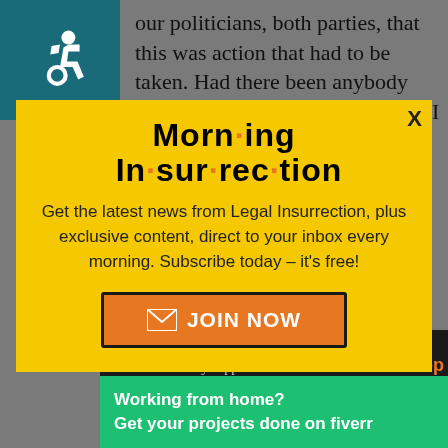[Figure (illustration): Teal background box with white wheelchair accessibility icon]
our politicians, both parties, that this was action that had to be taken. Had there been anybody with a strong rational alternative. I would have backed
[Figure (infographic): Yellow popup modal with 'Morning Insurrection' newsletter signup. Title reads 'Morn·ing In·sur·rec·tion' with orange dots. Body text: 'Get the latest news from Legal Insurrection, plus exclusive content, direct to your inbox every morning. Subscribe today – it's free!' Orange JOIN NOW button with envelope icon. X close button top right.]
It was decisive to know that the Democratic Party supported that
[Figure (infographic): Green Fiverr advertisement banner: 'Working from home? Get your projects done on fiverr']